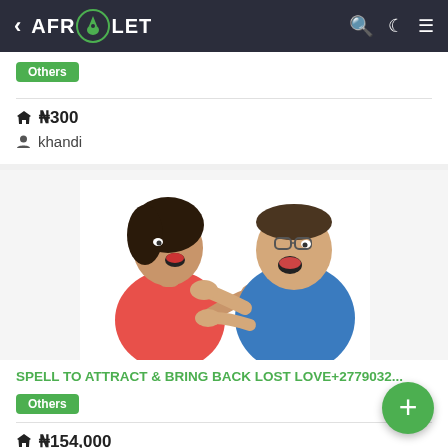AFR🌿LET — navigation bar with back arrow, search, dark mode, and menu icons
Others
₦300
khandi
[Figure (photo): Two people facing each other yelling/arguing — a woman in a red top on the left and a man in a blue shirt on the right, white background]
SPELL TO ATTRACT & BRING BACK LOST LOVE+2779032…
Others
₦154,000
techinitianfevar